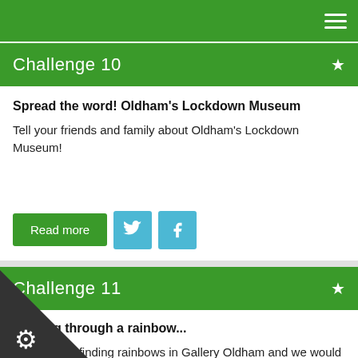≡
Challenge 10
Spread the word! Oldham's Lockdown Museum
Tell your friends and family about Oldham's Lockdown Museum!
Read more [Twitter] [Facebook]
Challenge 11
Walking through a rainbow...
We've been finding rainbows in Gallery Oldham and we would love to see the rainbows you've made or found at home. Share them with us @galleryoldham!